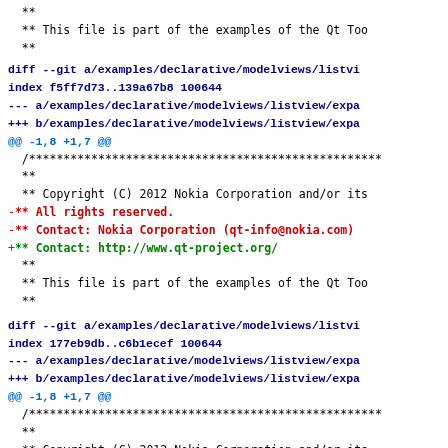** 
 ** This file is part of the examples of the Qt Too
 **
diff --git a/examples/declarative/modelviews/listvi
index f5ff7d73..139a67b8 100644
--- a/examples/declarative/modelviews/listview/expa
+++ b/examples/declarative/modelviews/listview/expa
@@ -1,8 +1,7 @@
 /****************************************************
 **
 ** Copyright (C) 2012 Nokia Corporation and/or its
 -** All rights reserved.
 -** Contact: Nokia Corporation (qt-info@nokia.com)
 +** Contact: http://www.qt-project.org/
 **
 ** This file is part of the examples of the Qt Too
 **
diff --git a/examples/declarative/modelviews/listvi
index 177eb9db..c6b1ecef 100644
--- a/examples/declarative/modelviews/listview/expa
+++ b/examples/declarative/modelviews/listview/expa
@@ -1,8 +1,7 @@
 /****************************************************
 **
 ** Copyright (C) 2012 Nokia Corporation and/or its
 -** All rights reserved.
 -** Contact: Nokia Corporation (qt-info@nokia.com)
 +** Contact: http://www.qt-project.org/